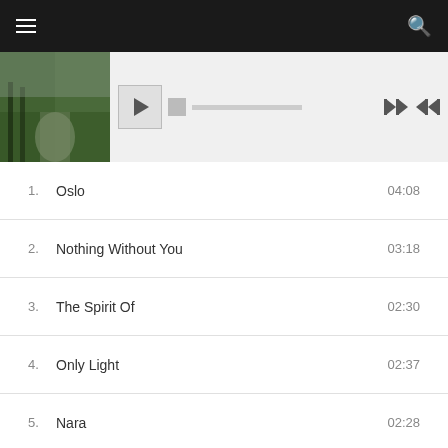[Figure (screenshot): Top navigation bar with hamburger menu icon on the left and search icon on the right, dark background]
[Figure (screenshot): Music player bar with album art thumbnail (rainy path scene), play button, progress bar, skip controls]
| # | Title | Duration |
| --- | --- | --- |
| 1. | Oslo | 04:08 |
| 2. | Nothing Without You | 03:18 |
| 3. | The Spirit Of | 02:30 |
| 4. | Only Light | 02:37 |
| 5. | Nara | 02:28 |
| 6. | Open Rain | 03:01 |
| 7. | Sound Of Alarm | 03:03 |
| 8. | Am I Something | 00:00 / 03:26 |
| 9. | It's Love | 01:31 |
| 10. | A Longer Moon | 02:51 |